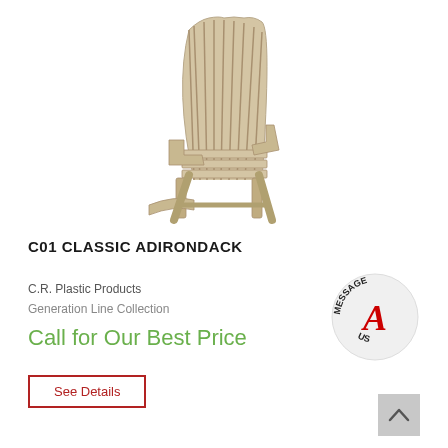[Figure (photo): Adirondack chair in beige/tan color, classic style with wide fan-shaped back, viewed from slight angle]
C01 CLASSIC ADIRONDACK
C.R. Plastic Products
Generation Line Collection
Call for Our Best Price
[Figure (logo): Message Us badge: circular badge with text MESSAGE US around the edge and a red letter A in the center]
See Details
[Figure (other): Scroll-to-top button: grey square with upward chevron arrow]